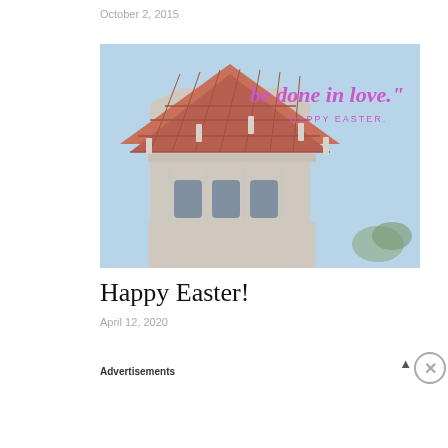October 2, 2015
[Figure (photo): Church tower with terracotta tile roof and ornate white stone architecture against a blue sky. Overlay text in purple cursive reads 'be done in love.' with 'HAPPY EASTER.' below in purple capitals.]
Happy Easter!
April 12, 2020
Advertisements
[Figure (screenshot): Advertisement banner for WordPress hosting. Dark navy background with a white P in a box icon, text 'WORDPRESS HOSTING THAT MEANS BUSINESS.' in white bold, and an OPEN sign photo on the right.]